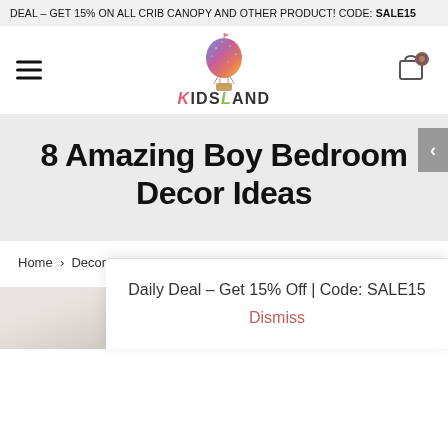DEAL – GET 15% ON ALL CRIB CANOPY AND OTHER PRODUCT! CODE: SALE15
[Figure (logo): KidsLand brand logo with hot air balloon illustration above stylized text 'KIDSLAND']
8 Amazing Boy Bedroom Decor Ideas
Home > Decor > 8 Amazing Boy Bedroom Decor Ideas
[Figure (photo): Partial photo of a white fluffy bedroom item (possibly a rug or bedding), bottom-left corner of page]
Daily Deal – Get 15% Off | Code: SALE15
Dismiss